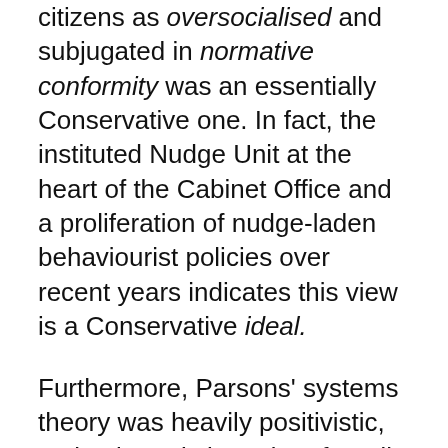citizens as oversocialised and subjugated in normative conformity was an essentially Conservative one. In fact, the instituted Nudge Unit at the heart of the Cabinet Office and a proliferation of nudge-laden behaviourist policies over recent years indicates this view is a Conservative ideal.
Furthermore, Parsons' systems theory was heavily positivistic, anti-voluntaristic and profoundly dehumanising. His mechanistic and unilinear evolutionary theory reads like an instruction manual for the capitalist state.